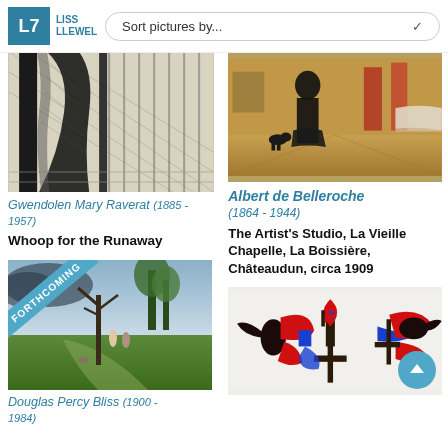LISS LLEWELYN — Sort pictures by...
[Figure (photo): Black and white woodcut/engraving print showing a figure in a doorway with curtains and architectural elements]
Gwendolen Mary Raverat (1885 - 1957)
Whoop for the Runaway
[Figure (photo): Oil painting showing interior of an artist's studio with dark figure standing, a dog, and various items on walls]
Albert de Belleroche
(1864 - 1944)
The Artist's Studio, La Vieille Chapelle, La Boissière, Châteaudun, circa 1909
[Figure (photo): Painting of a pastoral landscape with figures under a tree, with a 'FORTHCOMING' banner overlay]
Douglas Percy Bliss (1900 - 1984)
[Figure (illustration): Abstract artwork with bold red, blue, and dark brown/black shapes suggesting birds or figures on a light background]